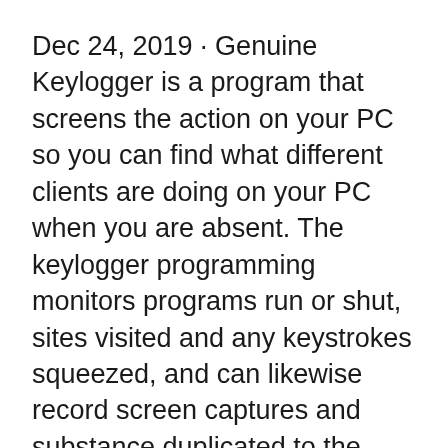Dec 24, 2019 · Genuine Keylogger is a program that screens the action on your PC so you can find what different clients are doing on your PC when you are absent. The keylogger programming monitors programs run or shut, sites visited and any keystrokes squeezed, and can likewise record screen captures and substance duplicated to the clipboard.
I'm not going to ask why you need a keylogger. Just know that installing one on someone else's system is a great way to get yourself dumped, fired, or prosecuted, depending on your situation. Oct 26, 2019 · Mobile-spy is a keylogger for iPhone that allows employers to monitor the smartphone usage of their employees. It can also be used by parents who wish to